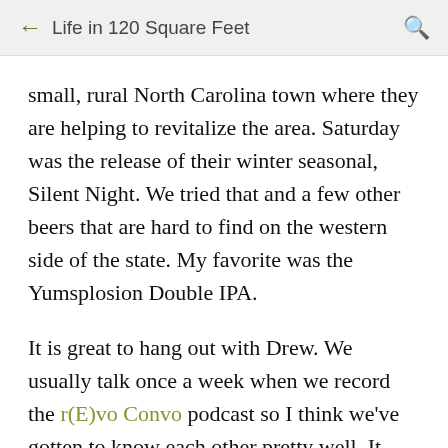← Life in 120 Square Feet 🔍
small, rural North Carolina town where they are helping to revitalize the area. Saturday was the release of their winter seasonal, Silent Night. We tried that and a few other beers that are hard to find on the western side of the state. My favorite was the Yumsplosion Double IPA.
It is great to hang out with Drew. We usually talk once a week when we record the r(E)vo Convo podcast so I think we've gotten to know each other pretty well. It was also great to get to know Crystal more. The Odoms are just plain good